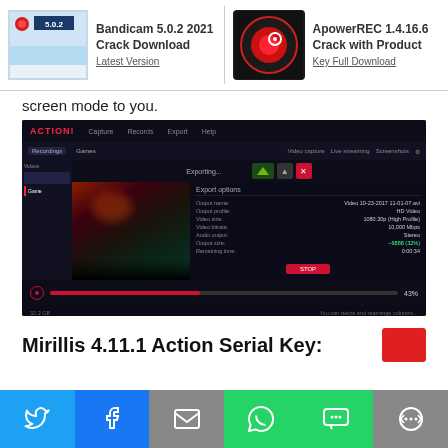[Figure (screenshot): Navigation bar with two article thumbnails: Bandicam 5.0.2 2021 Crack Download Latest Version (left) and ApowerREC 1.4.16.6 Crack with Product Key Full Download (right)]
screen mode to you.
[Figure (screenshot): Action! screen recording software UI showing export dialog with video thumbnail, export options panel showing output name, profile, video size, bitrate, audio output, output size and remaining time, with 43% progress bar]
Mirillis 4.11.1 Action Serial Key:
[Figure (infographic): Social sharing bar with Twitter (blue), Facebook (blue), Email (grey), WhatsApp (green), SMS (green), and More (grey) buttons]